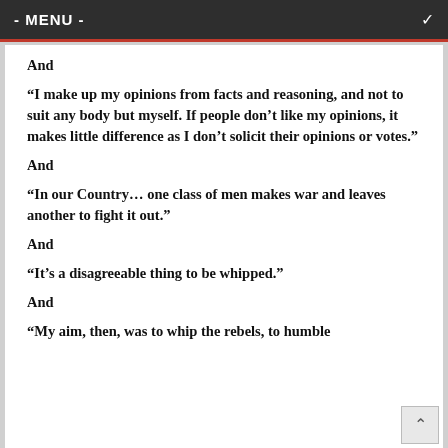- MENU -
And
“I make up my opinions from facts and reasoning, and not to suit any body but myself. If people don’t like my opinions, it makes little difference as I don’t solicit their opinions or votes.”
And
“In our Country… one class of men makes war and leaves another to fight it out.”
And
“It’s a disagreeable thing to be whipped.”
And
“My aim, then, was to whip the rebels, to humble